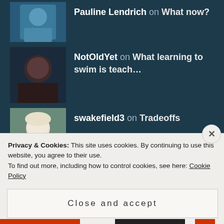Pauline Lendrich on What now?
NotOldYet on What learning to swim is teach...
swakefield3 on Tradeoffs
ARCHIVES
August 2022
July 2022
Privacy & Cookies: This site uses cookies. By continuing to use this website, you agree to their use.
To find out more, including how to control cookies, see here: Cookie Policy
Close and accept